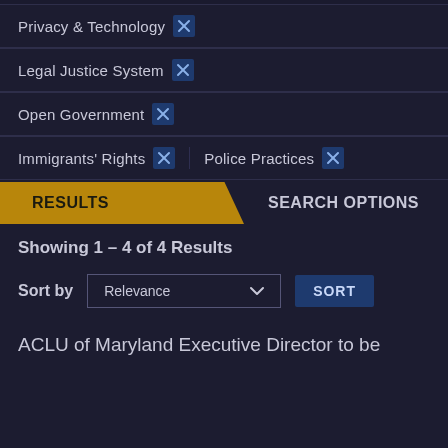Privacy & Technology [x]
Legal Justice System [x]
Open Government [x]
Immigrants' Rights [x]
Police Practices [x]
RESULTS
SEARCH OPTIONS
Showing 1 – 4 of 4 Results
Sort by   Relevance ∨   SORT
ACLU of Maryland Executive Director to be